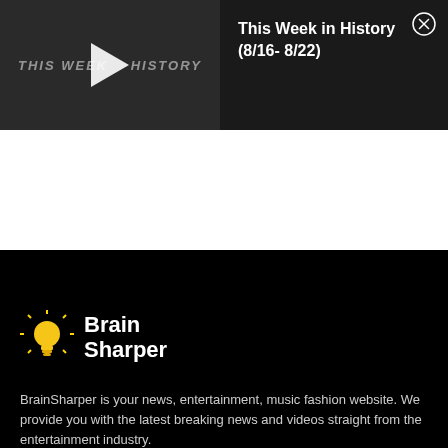[Figure (screenshot): Video thumbnail showing 'THIS WEEK IN HISTORY' text with a play button overlay on a dark background]
This Week in History (8/16- 8/22)
[Figure (logo): Brain Sharper logo with lightbulb icon]
BrainSharper is your news, entertainment, music fashion website. We provide you with the latest breaking news and videos straight from the entertainment industry.